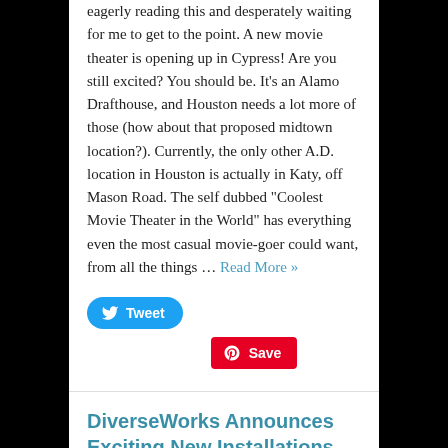eagerly reading this and desperately waiting for me to get to the point. A new movie theater is opening up in Cypress! Are you still excited? You should be. It’s an Alamo Drafthouse, and Houston needs a lot more of those (how about that proposed midtown location?). Currently, the only other A.D. location in Houston is actually in Katy, off Mason Road. The self dubbed “Coolest Movie Theater in the World” has everything even the most casual movie-goer could want, from all the things … Read More »
[Figure (other): Twitter Tweet button and Pinterest Save button]
DiverseWorks Announces Exciting New Installations and Performances for